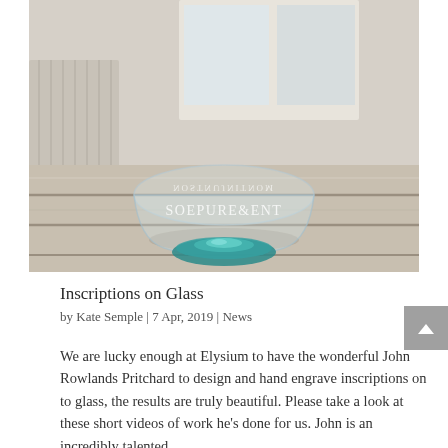[Figure (photo): A clear glass bowl with etched/engraved text reading 'SOEPUREGENT' sitting on a teal/turquoise glass base, placed on a rustic wooden table with a white background. The bowl appears to be a decorative piece with hand-engraved inscriptions.]
Inscriptions on Glass
by Kate Semple | 7 Apr, 2019 | News
We are lucky enough at Elysium to have the wonderful John Rowlands Pritchard to design and hand engrave inscriptions on to glass, the results are truly beautiful. Please take a look at these short videos of work he's done for us. John is an incredibly talented...